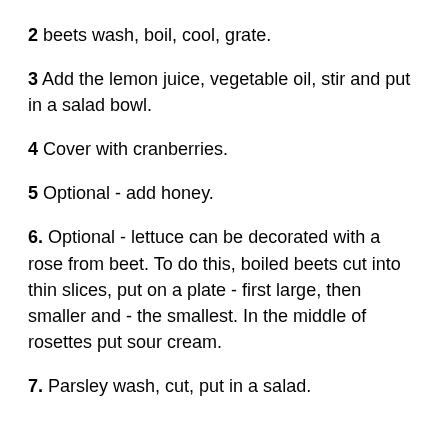2 beets wash, boil, cool, grate.
3 Add the lemon juice, vegetable oil, stir and put in a salad bowl.
4 Cover with cranberries.
5 Optional - add honey.
6. Optional - lettuce can be decorated with a rose from beet. To do this, boiled beets cut into thin slices, put on a plate - first large, then smaller and - the smallest. In the middle of rosettes put sour cream.
7. Parsley wash, cut, put in a salad.